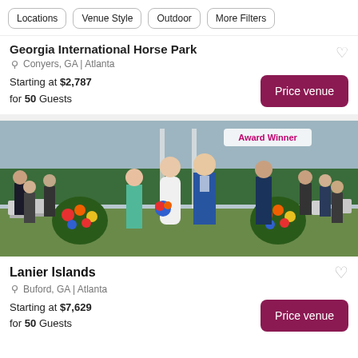Locations | Venue Style | Outdoor | More Filters
Georgia International Horse Park
Conyers, GA | Atlanta
Starting at $2,787 for 50 Guests
Price venue
[Figure (photo): Wedding ceremony photo showing a bride and groom walking down the aisle with flower arrangements and guests on either side. Award Winner badge visible in top right corner.]
Lanier Islands
Buford, GA | Atlanta
Starting at $7,629 for 50 Guests
Price venue